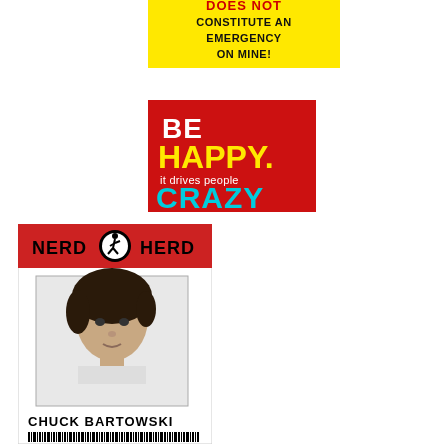[Figure (illustration): Yellow bumper sticker with bold black text reading 'CONSTITUTE AN EMERGENCY ON MINE!' with red text partially visible at top]
[Figure (illustration): Red square graphic with text: 'BE HAPPY. it drives people CRAZY' — HAPPY in yellow, CRAZY in cyan/blue]
[Figure (illustration): Nerd Herd ID badge for Chuck Bartowski with photo of young man, red header bar with Nerd Herd logo, name printed below photo, barcode at bottom]